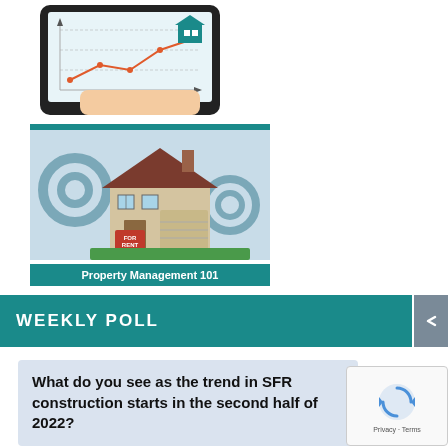[Figure (illustration): Illustration of a hand holding a tablet showing 'Regional Chart' with a line graph and a teal house icon, under a teal banner reading 'Latest Home Sales Data']
[Figure (illustration): Illustration of a house with gear icons and a 'FOR RENT' sign, under a teal banner reading 'Property Management 101']
WEEKLY POLL
What do you see as the trend in SFR construction starts in the second half of 2022?